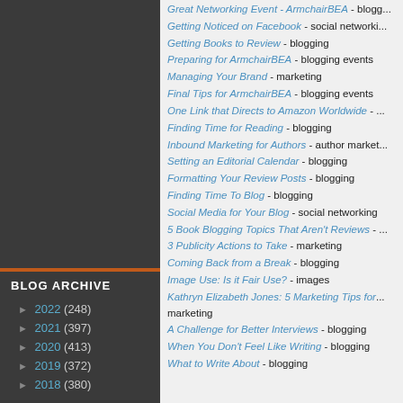Great Networking Event - ArmchairBEA - blogg...
Getting Noticed on Facebook - social networki...
Getting Books to Review - blogging
Preparing for ArmchairBEA - blogging events
Managing Your Brand - marketing
Final Tips for ArmchairBEA - blogging events
One Link that Directs to Amazon Worldwide - ...
Finding Time for Reading - blogging
Inbound Marketing for Authors - author market...
Setting an Editorial Calendar - blogging
Formatting Your Review Posts - blogging
Finding Time To Blog - blogging
Social Media for Your Blog - social networking
5 Book Blogging Topics That Aren't Reviews - ...
3 Publicity Actions to Take - marketing
Coming Back from a Break - blogging
Image Use: Is it Fair Use? - images
Kathryn Elizabeth Jones: 5 Marketing Tips for... marketing
A Challenge for Better Interviews - blogging
When You Don't Feel Like Writing - blogging
What to Write About - blogging
BLOG ARCHIVE
► 2022 (248)
► 2021 (397)
► 2020 (413)
► 2019 (372)
► 2018 (380)